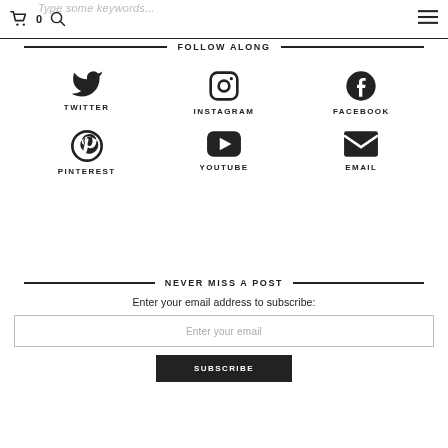Type some keywords... 0 [search icon] [menu icon]
FOLLOW ALONG
[Figure (other): Twitter bird icon]
TWITTER
[Figure (other): Instagram camera icon]
INSTAGRAM
[Figure (other): Facebook F icon]
FACEBOOK
[Figure (other): Pinterest P icon]
PINTEREST
[Figure (other): YouTube play button icon]
YOUTUBE
[Figure (other): Email envelope icon]
EMAIL
NEVER MISS A POST
Enter your email address to subscribe:
Enter your email
SUBSCRIBE